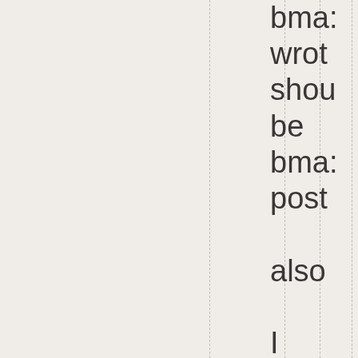bma: wrot shou be bma: post also I know you are new here, shou be